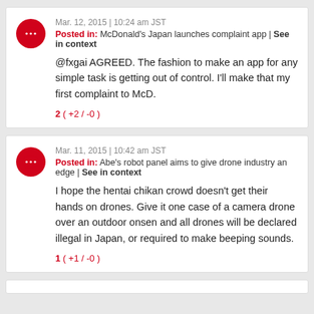Mar. 12, 2015 | 10:24 am JST
Posted in: McDonald's Japan launches complaint app | See in context
@fxgai AGREED. The fashion to make an app for any simple task is getting out of control. I'll make that my first complaint to McD.
2 ( +2 / -0 )
Mar. 11, 2015 | 10:42 am JST
Posted in: Abe's robot panel aims to give drone industry an edge | See in context
I hope the hentai chikan crowd doesn't get their hands on drones. Give it one case of a camera drone over an outdoor onsen and all drones will be declared illegal in Japan, or required to make beeping sounds.
1 ( +1 / -0 )